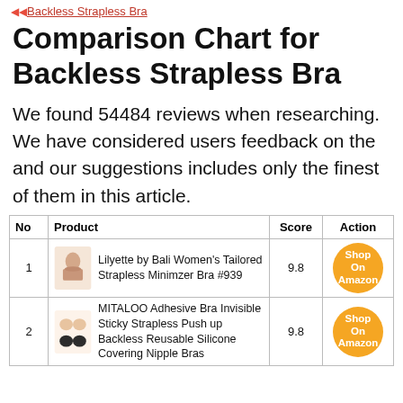Backless Strapless Bra
Comparison Chart for Backless Strapless Bra
We found 54484 reviews when researching. We have considered users feedback on the and our suggestions includes only the finest of them in this article.
| No | Product | Score | Action |
| --- | --- | --- | --- |
| 1 | Lilyette by Bali Women's Tailored Strapless Minimzer Bra #939 | 9.8 | Shop On Amazon |
| 2 | MITALOO Adhesive Bra Invisible Sticky Strapless Push up Backless Reusable Silicone Covering Nipple Bras | 9.8 | Shop On Amazon |